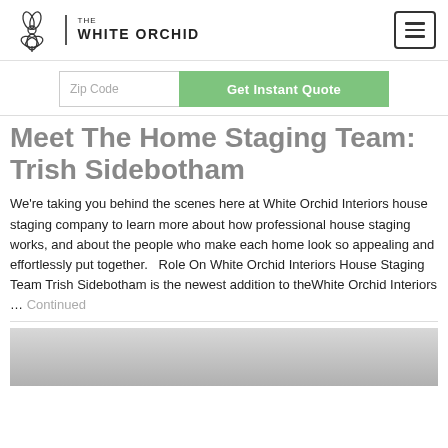the WHITE ORCHID
Zip Code  Get Instant Quote
Meet The Home Staging Team: Trish Sidebotham
We're taking you behind the scenes here at White Orchid Interiors house staging company to learn more about how professional house staging works, and about the people who make each home look so appealing and effortlessly put together.   Role On White Orchid Interiors House Staging Team Trish Sidebotham is the newest addition to theWhite Orchid Interiors … Continued
[Figure (photo): Bottom portion of a photo, light gray tones, partially visible at bottom of page]